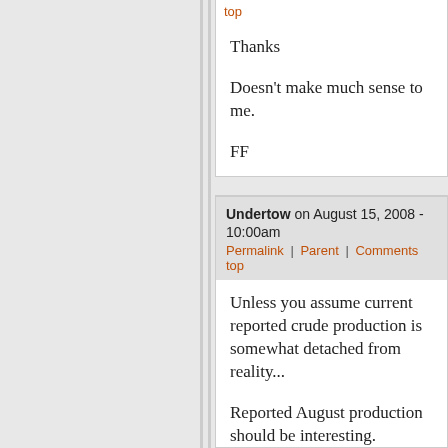top
Thanks

Doesn't make much sense to me.

FF
Undertow on August 15, 2008 - 10:00am
Permalink | Parent | Comments top
Unless you assume current reported crude production is somewhat detached from reality...

Reported August production should be interesting. Looking as if it's going to be way